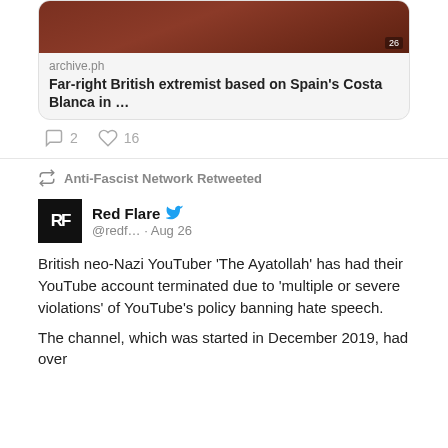[Figure (screenshot): Thumbnail image of a gavel for an archive.ph link card]
archive.ph
Far-right British extremist based on Spain's Costa Blanca in …
2  16
Anti-Fascist Network Retweeted
Red Flare @redf… · Aug 26
British neo-Nazi YouTuber 'The Ayatollah' has had their YouTube account terminated due to 'multiple or severe violations' of YouTube's policy banning hate speech.
The channel, which was started in December 2019, had over